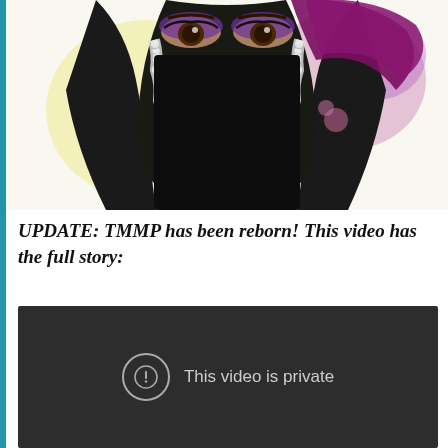[Figure (illustration): Illustrated figure of a woman wearing a black niqab and dark headscarf with silver lace trim and a deep magenta/purple accent, with dramatic eye makeup visible above the veil, against a soft yellow-white background with pink/purple abstract shapes.]
UPDATE: TMMP has been reborn! This video has the full story:
[Figure (screenshot): Embedded video player showing a dark/black screen with a circular exclamation mark icon and the message 'This video is private' in gray text on a dark background.]